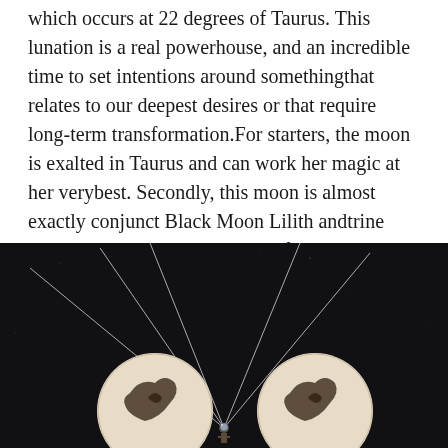which occurs at 22 degrees of Taurus. This lunation is a real powerhouse, and an incredible time to set intentions around something that relates to our deepest desires or that require long-term transformation. For starters, the moon is exalted in Taurus and can work her magic at her very best. Secondly, this moon is almost exactly conjunct Black Moon Lilith and trine Pluto in Capricorn. Being two of the darkest and deeply secretive influences, their presence hints at a witchy feminine energy and psychic perception being present during this time.
[Figure (photo): Dark night sky background with two circular moon medallions showing crescent/bird designs, connected by thin radiating silver lines from a central point. A small figure appears between the two medallions.]